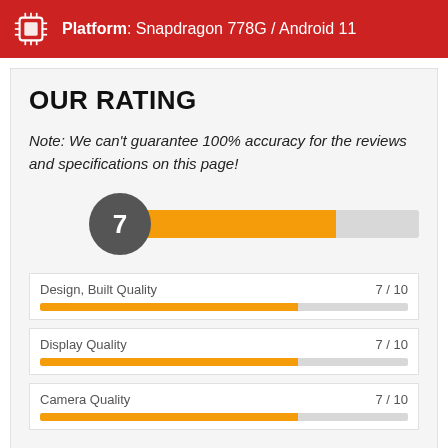Platform: Snapdragon 778G / Android 11
OUR RATING
Note: We can't guarantee 100% accuracy for the reviews and specifications on this page!
[Figure (bar-chart): Overall Rating]
[Figure (bar-chart): Design, Built Quality]
[Figure (bar-chart): Display Quality]
[Figure (bar-chart): Camera Quality]